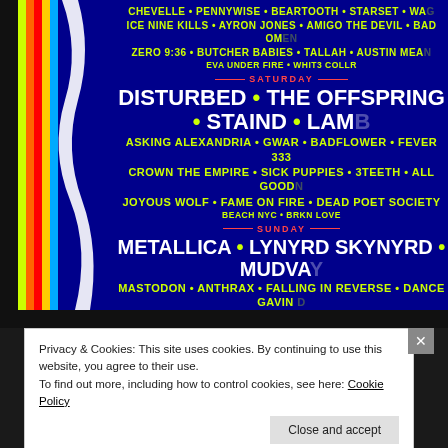[Figure (infographic): Welcome to Rockville Festival poster (cropped). Dark blue background with retro rainbow stripes on the left. Shows Saturday and Sunday lineups. Saturday: DISTURBED · THE OFFSPRING · STAIND · LAMB..., ASKING ALEXANDRIA · GWAR · BADFLOWER · FEVER 333, CROWN THE EMPIRE · SICK PUPPIES · 3TEETH · ALL GOOD..., JOYOUS WOLF · FAME ON FIRE · DEAD POET SOCIETY, BEACH NYC · BRKN LOVE. Sunday: METALLICA · LYNYRD SKYNYRD · MUDVA..., MASTODON · ANTHRAX · FALLING IN REVERSE · DANCE GAVIN..., SLEEPING WITH SIRENS · CODE ORANGE · JELLY ROLL · FIRE FROM TH..., THE WARNING · GOODBYE JUNE · ALIEN WEAPONRY, AVOID · HERD THE BAND · SURVIVE THE SUN. Also shows top portion: CHEVELLE · PENNYWISE · BEARTOOTH · STARSET · WA..., ICE NINE KILLS · AYRON JONES · AMIGO THE DEVIL · BAD OM..., ZERO 9:36 · BUTCHER BABIES · TALLAH · AUSTIN MEA..., EVA UNDER FIRE · WHIT3 COLLR. URL: www.WELCOMETOROCKVILLEFESTIVAL.com]
Privacy & Cookies: This site uses cookies. By continuing to use this website, you agree to their use.
To find out more, including how to control cookies, see here: Cookie Policy
Close and accept